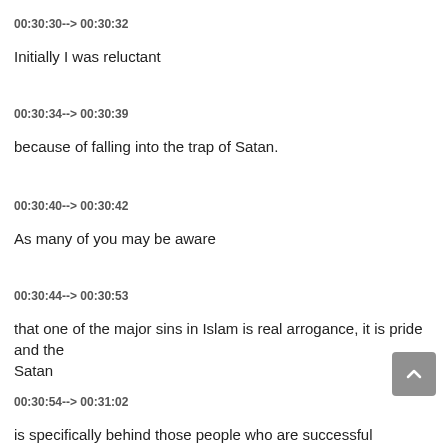00:30:30--> 00:30:32
Initially I was reluctant
00:30:34--> 00:30:39
because of falling into the trap of Satan.
00:30:40--> 00:30:42
As many of you may be aware
00:30:44--> 00:30:53
that one of the major sins in Islam is real arrogance, it is pride and the Satan
00:30:54--> 00:31:02
is specifically behind those people who are successful and closer to